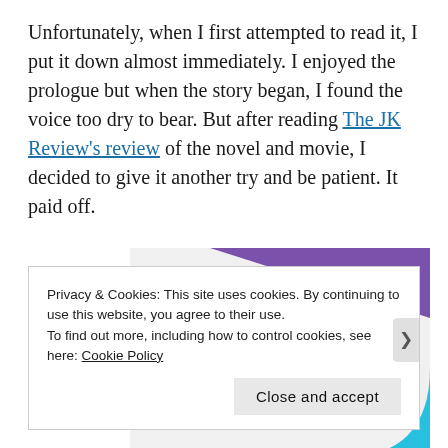Unfortunately, when I first attempted to read it, I put it down almost immediately. I enjoyed the prologue but when the story began, I found the voice too dry to bear. But after reading The JK Review's review of the novel and movie, I decided to give it another try and be patient. It paid off.
[Figure (illustration): Advertisement banner with geometric shapes (green triangle, purple triangle top, cyan quarter-circle) on a light gray background with bold text: 'How to start selling subscriptions online']
Privacy & Cookies: This site uses cookies. By continuing to use this website, you agree to their use.
To find out more, including how to control cookies, see here: Cookie Policy
Close and accept